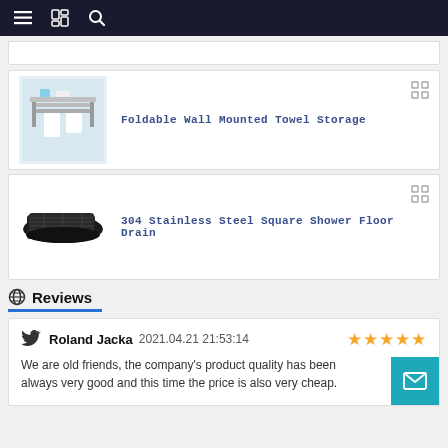Navigation bar with menu, catalog, and search icons
Foldable Wall Mounted Towel Storage
304 Stainless Steel Square Shower Floor Drain
Reviews
Roland Jacka  2021.04.21 21:53:14  ★★★★★
We are old friends, the company's product quality has been always very good and this time the price is also very cheap.